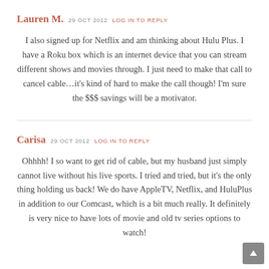Lauren M. 29 OCT 2012 LOG IN TO REPLY
I also signed up for Netflix and am thinking about Hulu Plus. I have a Roku box which is an internet device that you can stream different shows and movies through. I just need to make that call to cancel cable…it's kind of hard to make the call though! I'm sure the $$$ savings will be a motivator.
Carisa 29 OCT 2012 LOG IN TO REPLY
Ohhhh! I so want to get rid of cable, but my husband just simply cannot live without his live sports. I tried and tried, but it's the only thing holding us back! We do have AppleTV, Netflix, and HuluPlus in addition to our Comcast, which is a bit much really. It definitely is very nice to have lots of movie and old tv series options to watch!